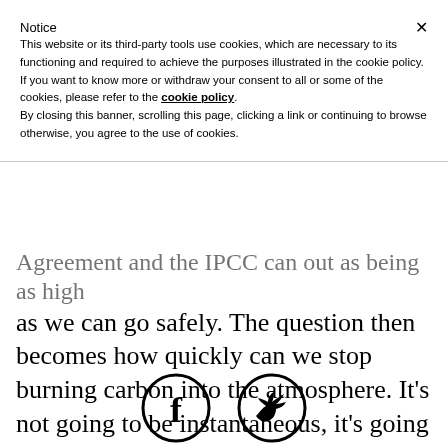Notice
This website or its third-party tools use cookies, which are necessary to its functioning and required to achieve the purposes illustrated in the cookie policy. If you want to know more or withdraw your consent to all or some of the cookies, please refer to the cookie policy.
By closing this banner, scrolling this page, clicking a link or continuing to browse otherwise, you agree to the use of cookies.
Agreement and the IPCC can out as being as high as we can go safely. The question then becomes how quickly can we stop burning carbon into the atmosphere. It’s not going to be instantaneous, it’s going to be a process, so we might pass the two degree limit, we might get up into that area of the
[Figure (illustration): Facebook and Twitter social media icon circles at the bottom of the page]